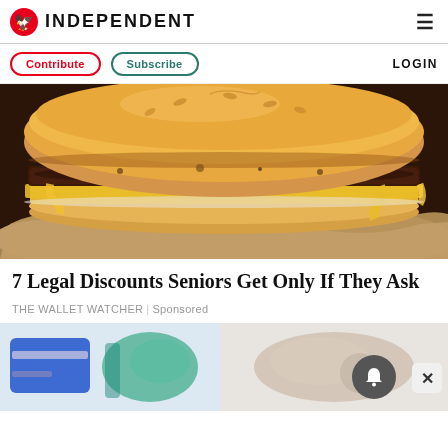INDEPENDENT
Contribute | Subscribe | LOGIN
[Figure (photo): Close-up photo of a double cheeseburger with melted yellow cheese on crinkled brown paper wrapping]
7 Legal Discounts Seniors Get Only If They Ask
THE WALLET WATCHER | Sponsored
[Figure (photo): Two thumbnail images at the bottom - left shows blue and teal colored items, right shows lighter colored items, partially visible]